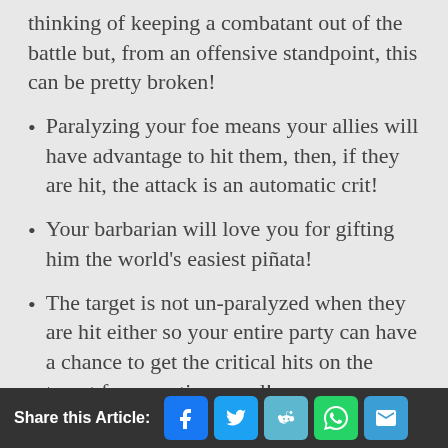thinking of keeping a combatant out of the battle but, from an offensive standpoint, this can be pretty broken!
Paralyzing your foe means your allies will have advantage to hit them, then, if they are hit, the attack is an automatic crit!
Your barbarian will love you for gifting him the world's easiest piñata!
The target is not un-paralyzed when they are hit either so your entire party can have a chance to get the critical hits on the target for an entire round!
Share this Article: [Facebook] [Twitter] [Reddit] [WhatsApp] [Email]